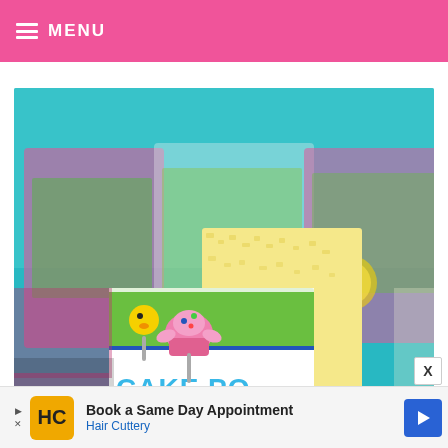MENU
[Figure (photo): Close-up photo of a Rice Krispie treat decorated with a colorful cake pop packaging label reading 'CAKE PO...' with cartoon cupcake and chick decorations. In the blurred background are more cake pops displayed in pink and green boxes with yellow chick cake pops, against a teal/turquoise backdrop.]
[Figure (photo): Advertisement banner: Hair Cuttery ad with yellow/orange logo with HC lettering, text 'Book a Same Day Appointment' and 'Hair Cuttery', with blue navigation arrow icon on right.]